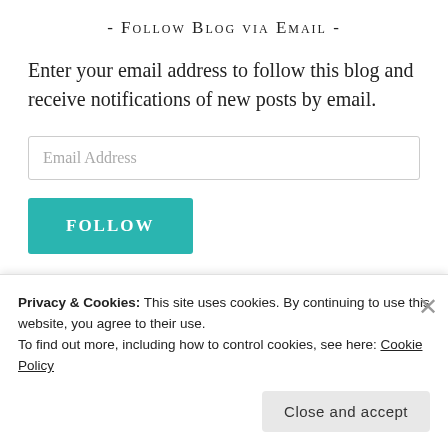- Follow Blog via Email -
Enter your email address to follow this blog and receive notifications of new posts by email.
Email Address
FOLLOW
- Review Archives -
Privacy & Cookies: This site uses cookies. By continuing to use this website, you agree to their use.
To find out more, including how to control cookies, see here: Cookie Policy
Close and accept